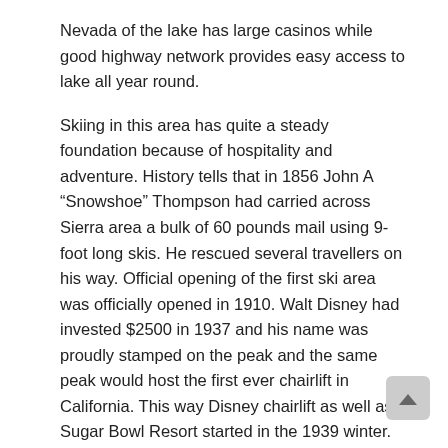Nevada of the lake has large casinos while good highway network provides easy access to lake all year round.
Skiing in this area has quite a steady foundation because of hospitality and adventure. History tells that in 1856 John A “Snowshoe” Thompson had carried across Sierra area a bulk of 60 pounds mail using 9-foot long skis. He rescued several travellers on his way. Official opening of the first ski area was officially opened in 1910. Walt Disney had invested $2500 in 1937 and his name was proudly stamped on the peak and the same peak would host the first ever chairlift in California. This way Disney chairlift as well as Sugar Bowl Resort started in the 1939 winter. During the next ten years, in 1946, Sierra-at-Tahoe started to be “Sierra Ski Ranch” by the area favorite veteran Sprock. Then from 1850s through in next twenty years, loggers kept clearing the area by cutting trees for supply of lumber to local mines. It was Sprock’s vision that none of the Red